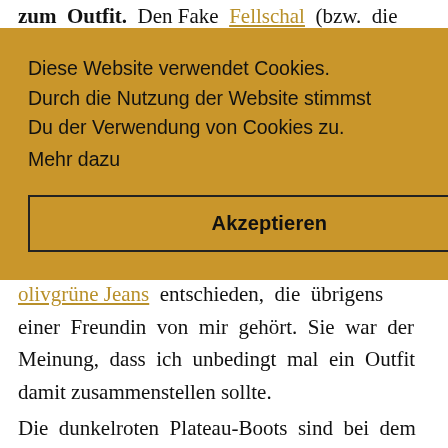zum Outfit. Den Fake Fellschal (bzw. die Sale [ihn nicht inem st er kel-/
[Figure (screenshot): Cookie consent banner with golden/tan background. Text reads: 'Diese Website verwendet Cookies. Durch die Nutzung der Website stimmst Du der Verwendung von Cookies zu. Mehr dazu' with an 'Akzeptieren' (Accept) button below.]
olivgrüne Jeans entschieden, die übrigens einer Freundin von mir gehört. Sie war der Meinung, dass ich unbedingt mal ein Outfit damit zusammenstellen sollte.
Die dunkelroten Plateau-Boots sind bei dem Wetter im Moment mein ständiger Begleiter. Außerdem stehe ich total auf diesen Style. Sie